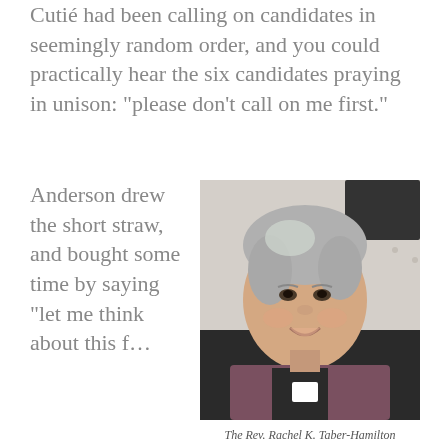Cutié had been calling on candidates in seemingly random order, and you could practically hear the six candidates praying in unison: “please don’t call on me first.”
Anderson drew the short straw, and bought some time by saying “let me think about this f…
[Figure (photo): A woman with short silver-streaked hair, wearing clerical collar and a purple jacket, smiling, seated in front of a white lace background. Screenshot from a video call.]
The Rev. Rachel K. Taber-Hamilton